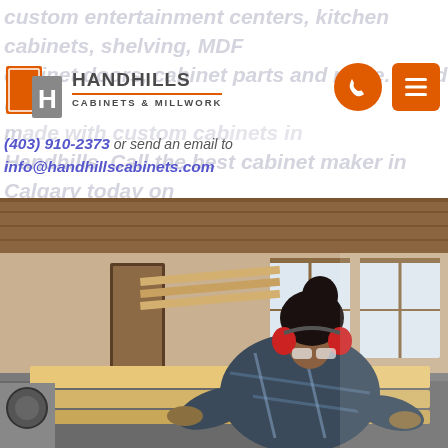custom entertainment centers, kitchen cabinets, shelving, MDF cabinet doors, cabinet parts and more. Send us ... with custom cabinets in Handhills. Call the best cabinet maker in Calgary today on
[Figure (logo): Handhills Cabinets & Millwork logo with orange cabinet icon and gray H letter mark, company name in bold gray text with orange underline]
[Figure (other): Orange circular phone icon button and orange square hamburger menu icon button]
(403) 910-2373 or send an email to info@handhillscabinets.com
[Figure (photo): A woman wearing red ear protection and safety glasses, dressed in a plaid shirt and gloves, leaning over a piece of lumber on a table saw in a woodworking shop]